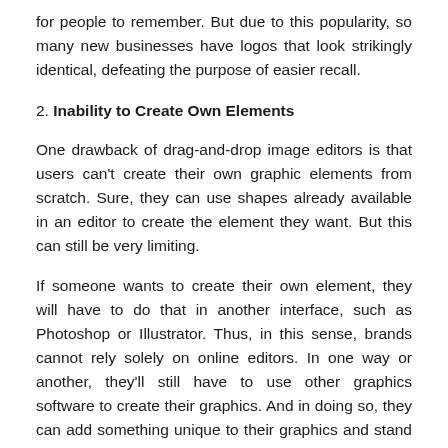for people to remember. But due to this popularity, so many new businesses have logos that look strikingly identical, defeating the purpose of easier recall.
2. Inability to Create Own Elements
One drawback of drag-and-drop image editors is that users can't create their own graphic elements from scratch. Sure, they can use shapes already available in an editor to create the element they want. But this can still be very limiting.
If someone wants to create their own element, they will have to do that in another interface, such as Photoshop or Illustrator. Thus, in this sense, brands cannot rely solely on online editors. In one way or another, they'll still have to use other graphics software to create their graphics. And in doing so, they can add something unique to their graphics and stand out from the pack.